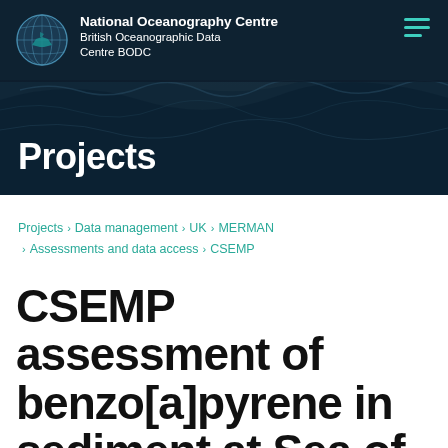[Figure (screenshot): National Oceanography Centre / British Oceanographic Data Centre BODC website header banner with dark ocean wave background, globe logo, and hamburger menu icon]
Projects
Projects › Data management › UK › MERMAN › Assessments and data access › CSEMP
CSEMP assessment of benzo[a]pyrene in sediment at Sea of Hebrides